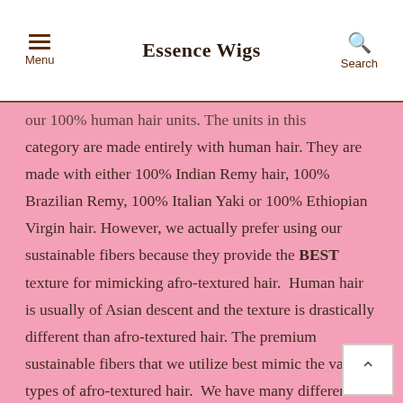Essence Wigs
our 100% human hair units. The units in this category are made entirely with human hair. They are made with either 100% Indian Remy hair, 100% Brazilian Remy, 100% Italian Yaki or 100% Ethiopian Virgin hair. However, we actually prefer using our sustainable fibers because they provide the BEST texture for mimicking afro-textured hair. Human hair is usually of Asian descent and the texture is drastically different than afro-textured hair. The premium sustainable fibers that we utilize best mimic the various types of afro-textured hair. We have many different wigs that resemble type 3